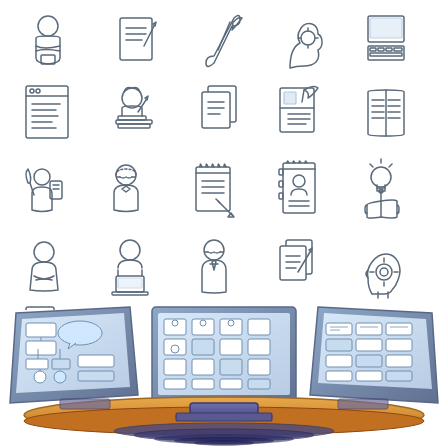[Figure (illustration): A 5x5 grid of line-art icons related to writing, education, and content creation, including figures of people reading/writing, documents, books, notepads, pens, brain/idea icons, and a computer keyboard. Icons are drawn in a thin gray/blue outline style.]
[Figure (illustration): A colored illustration of three large flat-screen monitors arranged in a fan/arc pattern on a desk surface, each showing UI interface panels and controls. The monitors have blue screen content with UI elements, and sit on a tan/orange desk surface. The overall style is flat vector illustration.]